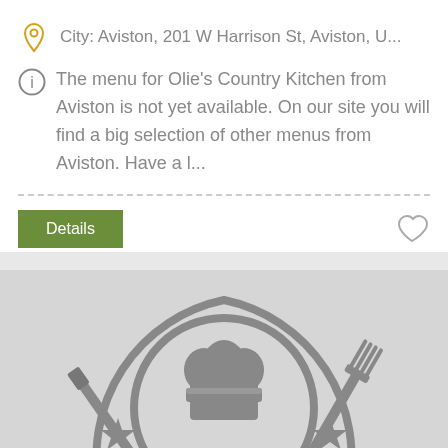City: Aviston, 201 W Harrison St, Aviston, U...
The menu for Olie's Country Kitchen from Aviston is not yet available. On our site you will find a big selection of other menus from Aviston. Have a l...
Details
[Figure (illustration): Restaurant logo: chef hat inside a circular plate with knife and fork crossed, two stars on each side, gray on light gray background]
Your experience on this site will be improved by allowing cookies.
Allow Cookies